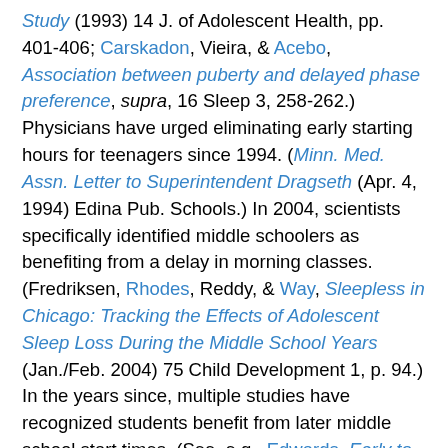Study (1993) 14 J. of Adolescent Health, pp. 401-406; Carskadon, Vieira, & Acebo, Association between puberty and delayed phase preference, supra, 16 Sleep 3, 258-262.) Physicians have urged eliminating early starting hours for teenagers since 1994. (Minn. Med. Assn. Letter to Superintendent Dragseth (Apr. 4, 1994) Edina Pub. Schools.) In 2004, scientists specifically identified middle schoolers as benefiting from a delay in morning classes. (Fredriksen, Rhodes, Reddy, & Way, Sleepless in Chicago: Tracking the Effects of Adolescent Sleep Loss During the Middle School Years (Jan./Feb. 2004) 75 Child Development 1, p. 94.) In the years since, multiple studies have recognized students benefit from later middle school start times. (See, e.g., Edwards, Early to Rise? The Effect of Daily Start Times on Academic Performance, supra, 31 Economics of Education Rev. 6, pp. 970-983; Jacob &